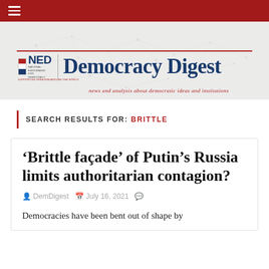NED Democracy Digest — news and analysis about democratic ideas and institutions
SEARCH RESULTS FOR: BRITTLE
'Brittle façade' of Putin's Russia limits authoritarian contagion?
DemDigest  July 16, 2021
Democracies have been bent out of shape by